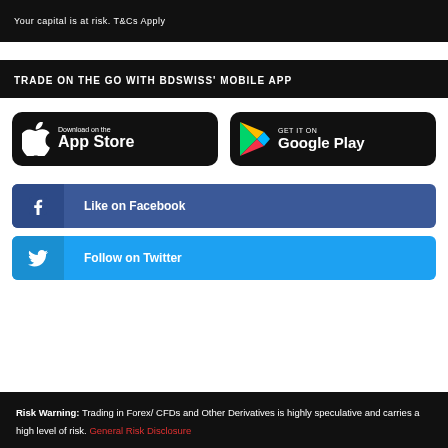[Figure (screenshot): Top banner with dark background showing 'Your capital is at risk. T&Cs Apply' text and a phone graphic]
TRADE ON THE GO WITH BDSWISS' MOBILE APP
[Figure (infographic): App Store download button with Apple logo on black background]
[Figure (infographic): Google Play download button with Play Store logo on black background]
[Figure (infographic): Like on Facebook button with Facebook icon on blue background]
[Figure (infographic): Follow on Twitter button with Twitter bird icon on blue background]
Risk Warning: Trading in Forex/ CFDs and Other Derivatives is highly speculative and carries a high level of risk. General Risk Disclosure